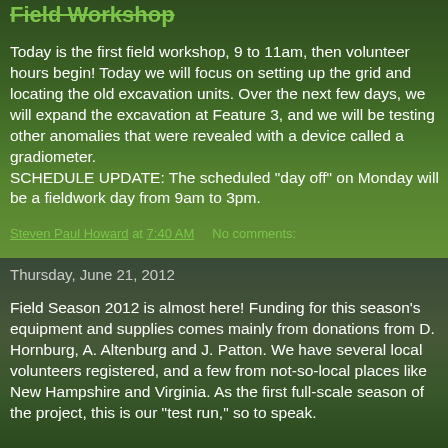Field Workshop
Today is the first field workshop, 9 to 11am, then volunteer hours begin! Today we will focus on setting up the grid and locating the old excavation units. Over the next few days, we will expand the excavation at Feature 3, and we will be testing other anomalies that were revealed with a device called a gradiometer.
SCHEDULE UPDATE: The scheduled "day off" on Monday will be a fieldwork day from 9am to 3pm.
Steven Paul Howard at 7:40 AM    No comments:
Thursday, June 21, 2012
Field Season 2012 is almost here! Funding for this season's equipment and supplies comes mainly from donations from D. Hornburg, A. Altenburg and J. Patton. We have several local volunteers registered, and a few from not-so-local places like New Hampshire and Virginia. As the first full-scale season of the project, this is our "test run," so to speak. We are still working on some last-minute details to make...